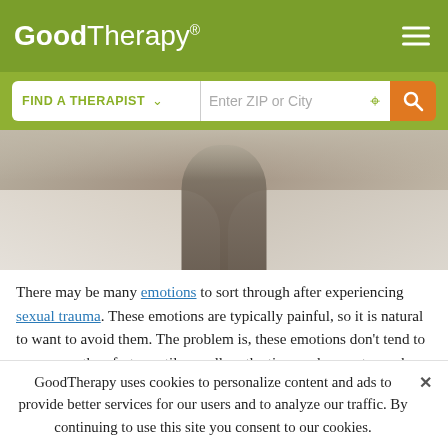GoodTherapy®
[Figure (photo): Person sitting on edge of a bed with rumpled white bedding, viewed from behind, in a dimly lit room.]
There may be many emotions to sort through after experiencing sexual trauma. These emotions are typically painful, so it is natural to want to avoid them. The problem is, these emotions don't tend to go away—they fester until you allow the time and space to work through them.

A common cycle of emotions after surviving sexual trauma is:
GoodTherapy uses cookies to personalize content and ads to provide better services for our users and to analyze our traffic. By continuing to use this site you consent to our cookies.